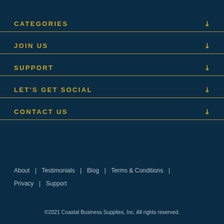CATEGORIES
JOIN US
SUPPORT
LET'S GET SOCIAL
CONTACT US
About | Testimonials | Blog | Terms & Conditions | Privacy | Support
©2021 Coastal Business Supplies, Inc. All rights reserved.